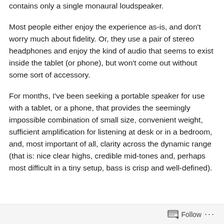contains only a single monaural loudspeaker.
Most people either enjoy the experience as-is, and don't worry much about fidelity. Or, they use a pair of stereo headphones and enjoy the kind of audio that seems to exist inside the tablet (or phone), but won't come out without some sort of accessory.
For months, I've been seeking a portable speaker for use with a tablet, or a phone, that provides the seemingly impossible combination of small size, convenient weight, sufficient amplification for listening at desk or in a bedroom, and, most important of all, clarity across the dynamic range (that is: nice clear highs, credible mid-tones and, perhaps most difficult in a tiny setup, bass is crisp and well-defined).
Follow ...